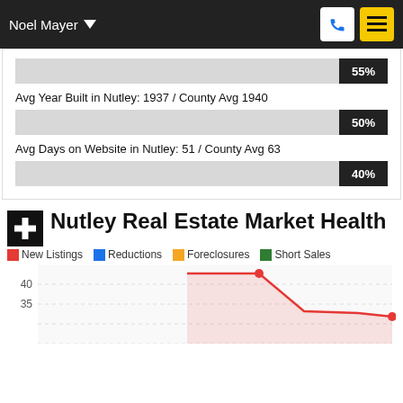Noel Mayer
[Figure (infographic): Two horizontal progress bars. First bar: 55% label, associated with stat 'Avg Year Built in Nutley: 1937 / County Avg 1940'. Second bar: 50% label. Third bar: 40% label, associated with stat 'Avg Days on Website in Nutley: 51 / County Avg 63'.]
Avg Year Built in Nutley: 1937 / County Avg 1940
Avg Days on Website in Nutley: 51 / County Avg 63
Nutley Real Estate Market Health
New Listings   Reductions   Foreclosures   Short Sales
[Figure (line-chart): Line chart showing New Listings, Reductions, Foreclosures, and Short Sales over time. Y-axis shows values 35 and 40 visible. Red line (New Listings) shows a peak around 35-38 range then declining.]